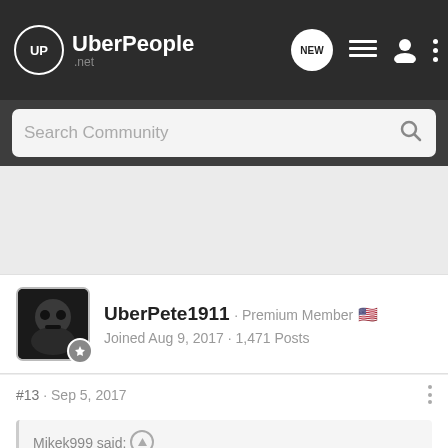UberPeople.net
Search Community
UberPete1911 · Premium Member
Joined Aug 9, 2017 · 1,471 Posts
#13 · Sep 5, 2017
Mikek999 said:
That's not very nice to say about an overweight pax
Lolol